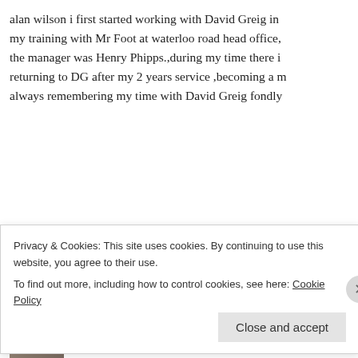alan wilson i first started working with David Greig in my training with Mr Foot at waterloo road head office, the manager was Henry Phipps.,during my time there i returning to DG after my 2 years service ,becoming a m always remembering my time with David Greig fondly
★ Like
Reply
Maureen Vince says: February 9, 2021 at 5:47 pm
We knew Henry Phipps well, he was a family
Privacy & Cookies: This site uses cookies. By continuing to use this website, you agree to their use. To find out more, including how to control cookies, see here: Cookie Policy
Close and accept